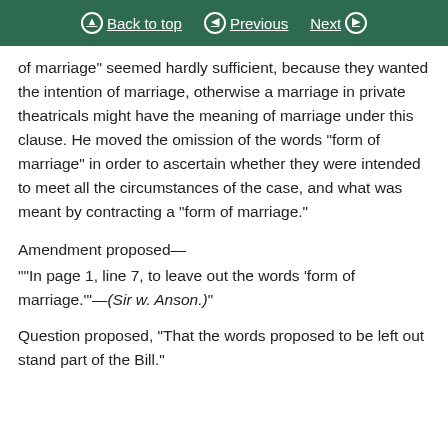Back to top   Previous   Next
of marriage" seemed hardly sufficient, because they wanted the intention of marriage, otherwise a marriage in private theatricals might have the meaning of marriage under this clause. He moved the omission of the words "form of marriage" in order to ascertain whether they were intended to meet all the circumstances of the case, and what was meant by contracting a "form of marriage."
Amendment proposed—
""In page 1, line 7, to leave out the words 'form of marriage.'"—(Sir w. Anson.)"
Question proposed, "That the words proposed to be left out stand part of the Bill."